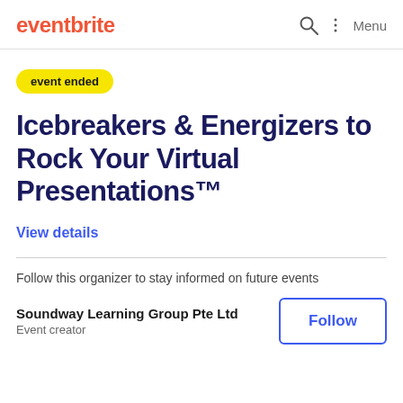eventbrite   Menu
event ended
Icebreakers & Energizers to Rock Your Virtual Presentations™
View details
Follow this organizer to stay informed on future events
Soundway Learning Group Pte Ltd
Event creator
Follow